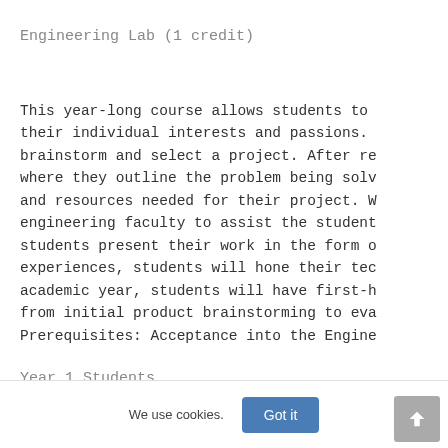Engineering Lab (1 credit)
This year-long course allows students to their individual interests and passions. brainstorm and select a project. After re where they outline the problem being solv and resources needed for their project. W engineering faculty to assist the student students present their work in the form o experiences, students will hone their tec academic year, students will have first-h from initial product brainstorming to eva Prerequisites: Acceptance into the Engine
Year 1 Students